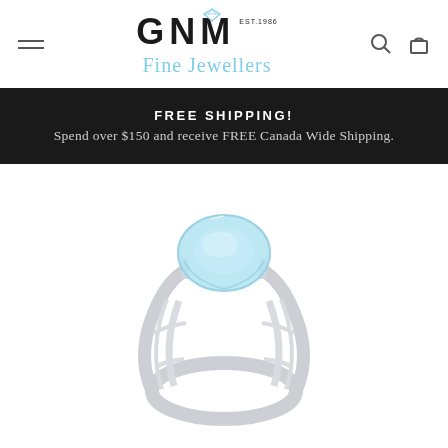[Figure (logo): GNM Fine Jewellers logo with hamburger menu, search icon, and cart icon in header]
FREE SHIPPING!
Spend over $150 and receive FREE Canada Wide Shipping.
[Figure (photo): White gold ring with large oval blue topaz gemstone, lattice/cage-style band design, side view]